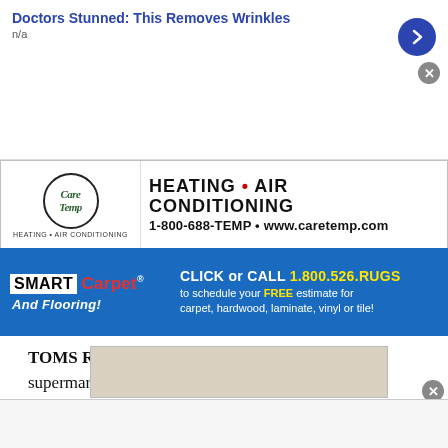[Figure (screenshot): Ad banner: 'Doctors Stunned: This Removes Wrinkles' with 'n/a' subtext and a blue circular arrow button, with a gray close (x) button]
[Figure (screenshot): Care Temp Heating & Air Conditioning banner ad with logo, text 'HEATING • AIR CONDITIONING' and '1-800-688-TEMP • www.caretemp.com']
[Figure (screenshot): SMART Carpet And Flooring banner ad: 'CLICK or CALL 1.800.526.RUGS to schedule your FREE estimate for carpet, hardwood, laminate, vinyl or tile!']
TOMS RIVER – You've see them in front of supermarkets, smiling ear to ear, with those colorful boxes of Thin Mints, Samoas and Tagalongs piled high, and couldn't help but stop and shell out $4 for a box – or two, or three – of deliciousness.
[Figure (photo): Partially visible photo at bottom of page]
[Figure (screenshot): Bottom advertisement overlay bar]